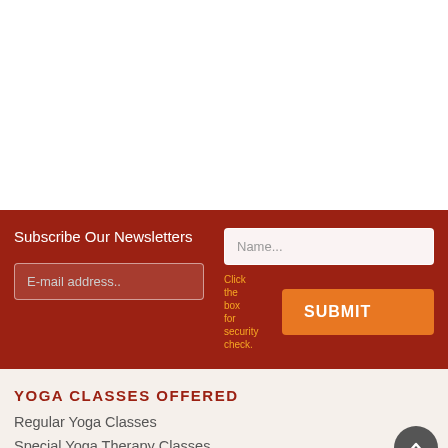Subscribe Our Newsletters
E-mail address..
Name...
Click the box for security check.
SUBMIT
YOGA CLASSES OFFERED
Regular Yoga Classes
Special Yoga Therapy Classes
Private Yoga Classes